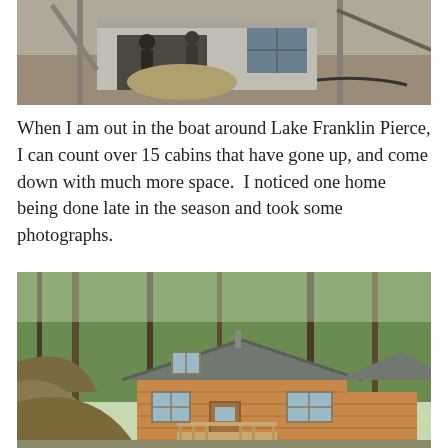[Figure (photo): Construction site photo showing a building under construction with concrete walls, workers visible inside, wooden framing, and dirt/mud ground around the structure.]
When I am out in the boat around Lake Franklin Pierce, I can count over 15 cabins that have gone up, and come down with much more space.  I noticed one home being done late in the season and took some photographs.
[Figure (photo): Photo of a completed wooden cabin surrounded by tall trees in a forested setting. The cabin has a peaked roof, wood siding, front deck with railing, and windows.]